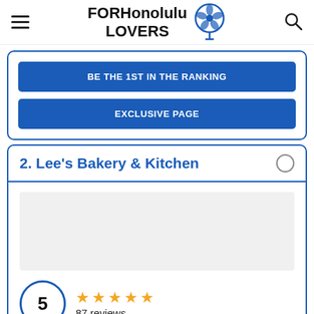FOR Honolulu LOVERS
BE THE 1ST IN THE RANKING
EXCLUSIVE PAGE
2. Lee's Bakery & Kitchen
5
87 reviews
Price